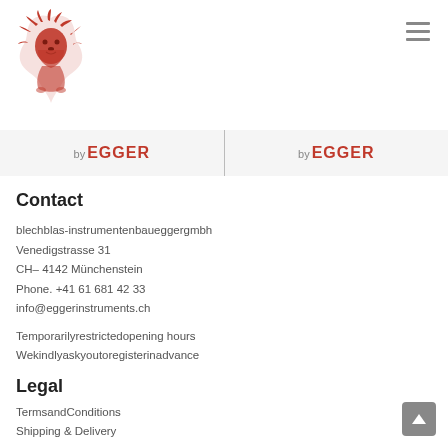[Figure (logo): Red lion head logo (by Egger brand logo) in top left corner]
[Figure (logo): Hamburger menu icon (three horizontal lines) in top right corner]
[Figure (logo): Two 'by EGGER' logos side by side with vertical divider in a grey band]
Contact
blechblas-instrumentenbaueggergmbh
Venedigstrasse 31
CH– 4142 Münchenstein
Phone. +41 61 681 42 33
info@eggerinstruments.ch
Temporarilyrestrictedopening hours
Wekindlyaskyoutoregisterinadvance
Legal
TermsandConditions
Shipping & Delivery